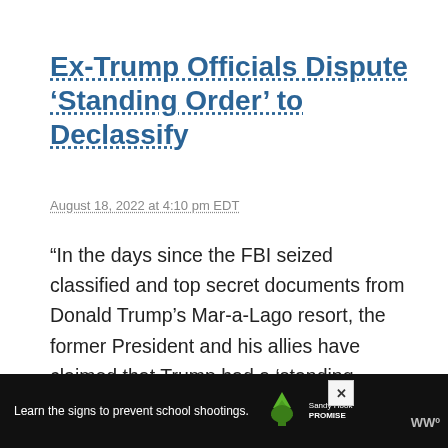Ex-Trump Officials Dispute ‘Standing Order’ to Declassify
August 18, 2022 at 4:10 pm EDT
“In the days since the FBI seized classified and top secret documents from Donald Trump’s Mar-a-Lago resort, the former President and his allies have claimed that Trump had a ‘standing…
[Figure (infographic): Like button (heart icon, dark red circle), like count '1', and share button below]
[Figure (screenshot): Advertisement banner: 'Learn the signs to prevent school shootings.' with Sandy Hook Promise logo and tree graphic, close button X, and WW logo]